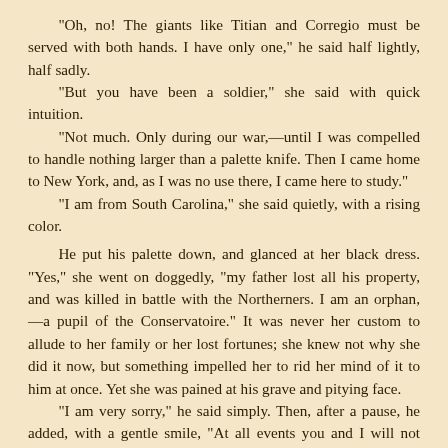“Oh, no! The giants like Titian and Corregio must be served with both hands. I have only one,” he said half lightly, half sadly.
“But you have been a soldier,” she said with quick intuition.
“Not much. Only during our war,—until I was compelled to handle nothing larger than a palette knife. Then I came home to New York, and, as I was no use there, I came here to study.”
“I am from South Carolina,” she said quietly, with a rising color.
He put his palette down, and glanced at her black dress. “Yes,” she went on doggedly, “my father lost all his property, and was killed in battle with the Northerners. I am an orphan, —a pupil of the Conservatoire.” It was never her custom to allude to her family or her lost fortunes; she knew not why she did it now, but something impelled her to rid her mind of it to him at once. Yet she was pained at his grave and pitying face.
“I am very sorry,” he said simply. Then, after a pause, he added, with a gentle smile, “At all events you and I will not quarrel here under the wings of the French eagles that shelter us both.”
“I only wanted to explain why I was alone in Paris,” she said, a little less aggressively.
He replied by unhooking his palette, which was ingeniously